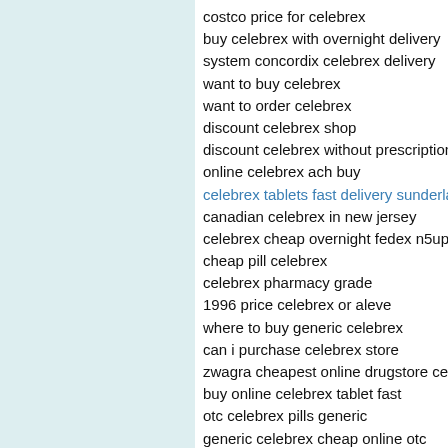costco price for celebrex
buy celebrex with overnight delivery
system concordix celebrex delivery
want to buy celebrex
want to order celebrex
discount celebrex shop
discount celebrex without prescription cheape
online celebrex ach buy
celebrex tablets fast delivery sunderland [link]
canadian celebrex in new jersey
celebrex cheap overnight fedex n5upf
cheap pill celebrex
celebrex pharmacy grade
1996 price celebrex or aleve
where to buy generic celebrex
can i purchase celebrex store
zwagra cheapest online drugstore celebrex
buy online celebrex tablet fast
otc celebrex pills generic
generic celebrex cheap online otc
buying celebrex overnight delivery
can i buy celebrex
where to order next celebrex